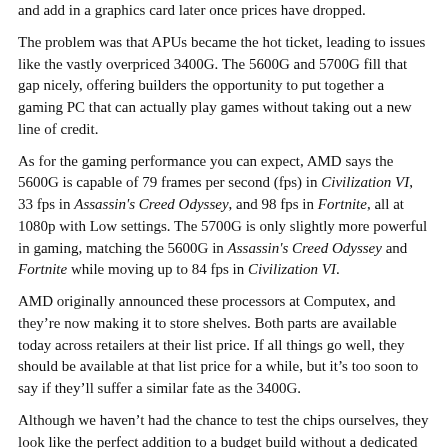and add in a graphics card later once prices have dropped.
The problem was that APUs became the hot ticket, leading to issues like the vastly overpriced 3400G. The 5600G and 5700G fill that gap nicely, offering builders the opportunity to put together a gaming PC that can actually play games without taking out a new line of credit.
As for the gaming performance you can expect, AMD says the 5600G is capable of 79 frames per second (fps) in Civilization VI, 33 fps in Assassin's Creed Odyssey, and 98 fps in Fortnite, all at 1080p with Low settings. The 5700G is only slightly more powerful in gaming, matching the 5600G in Assassin's Creed Odyssey and Fortnite while moving up to 84 fps in Civilization VI.
AMD originally announced these processors at Computex, and they’re now making it to store shelves. Both parts are available today across retailers at their list price. If all things go well, they should be available at that list price for a while, but it’s too soon to say if they’ll suffer a similar fate as the 3400G.
Although we haven’t had the chance to test the chips ourselves, they look like the perfect addition to a budget build without a dedicated graphics card. And that’s something PC builders have needed for a while.